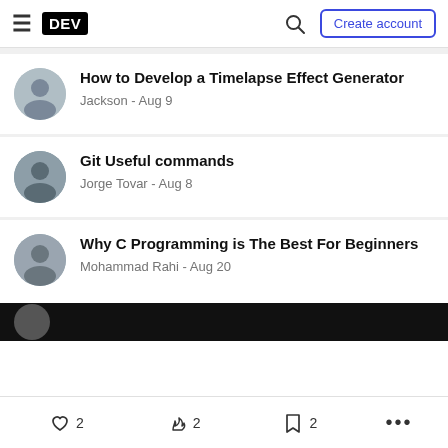DEV — Create account
How to Develop a Timelapse Effect Generator — Jackson - Aug 9
Git Useful commands — Jorge Tovar - Aug 8
Why C Programming is The Best For Beginners — Mohammad Rahi - Aug 20
❤ 2   🔥 2   🔖 2   ...